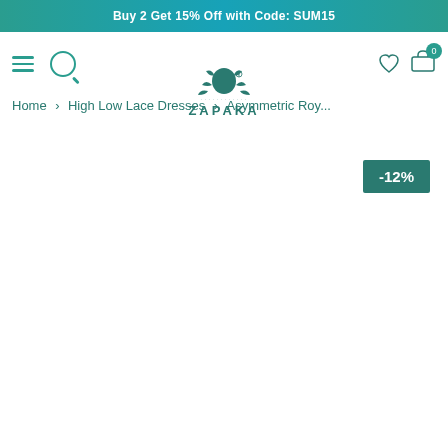Buy 2 Get 15% Off with Code: SUM15
[Figure (logo): Zapaka brand logo with decorative floral silhouette and text ZAPAKA]
Home › High Low Lace Dresses › Asymmetric Roy...
-12%
[Figure (photo): Product image area (white/blank)]